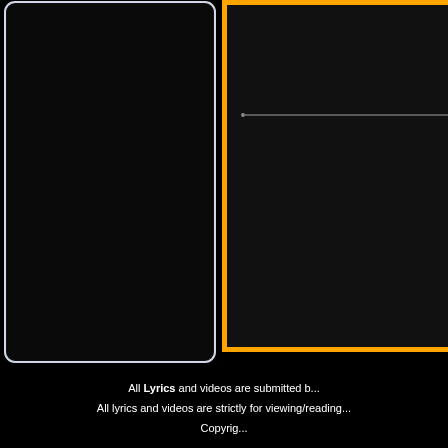[Figure (screenshot): A dark web page UI screenshot showing a black background with a light blue/white rounded rectangle card outline on the left portion, and a dark panel bordered by orange lines on the right portion. A faint white horizontal line is visible in the upper right dark panel area. The bottom of the image shows partial footer text on a black background.]
All Lyrics and videos are submitted b... All lyrics and videos are strictly for viewing/reading... Copyrig...